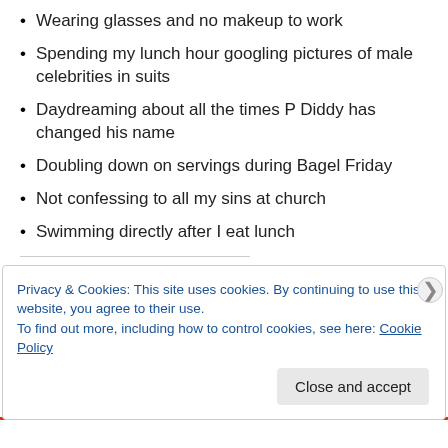Wearing glasses and no makeup to work
Spending my lunch hour googling pictures of male celebrities in suits
Daydreaming about all the times P Diddy has changed his name
Doubling down on servings during Bagel Friday
Not confessing to all my sins at church
Swimming directly after I eat lunch
SPREAD THE WORD(S)
Privacy & Cookies: This site uses cookies. By continuing to use this website, you agree to their use.
To find out more, including how to control cookies, see here: Cookie Policy